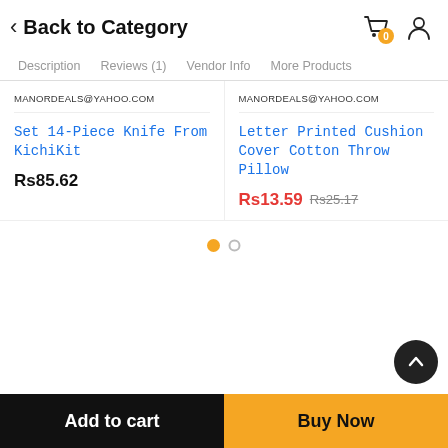Back to Category
Description   Reviews (1)   Vendor Info   More Products
MANORDEALS@YAHOO.COM
Set 14-Piece Knife From KichiKit
Rs85.62
MANORDEALS@YAHOO.COM
Letter Printed Cushion Cover Cotton Throw Pillow
Rs13.59  Rs25.17
[Figure (other): Pagination dots: one filled orange dot and one empty circle]
Add to cart
Buy Now